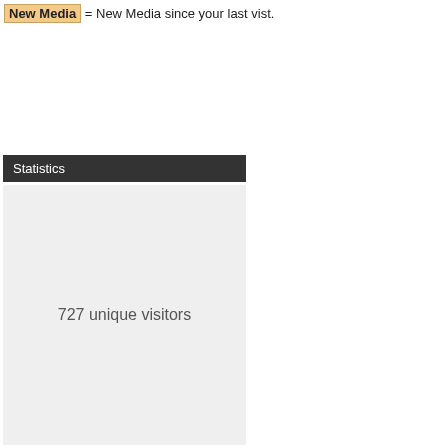New Media = New Media since your last vist.
Statistics
727 unique visitors